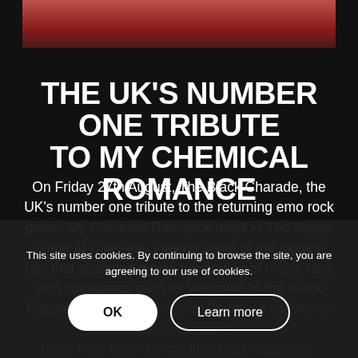[Figure (photo): Concert photo showing a performer on stage with reddish stage lighting, partially visible at the top of the page]
THE UK'S NUMBER ONE TRIBUTE TO MY CHEMICAL ROMANCE
On Friday 27th August, The Black Charade, the UK's number one tribute to the returning emo rock giants My Chemical Romance head to The Vegas Stage at OllieFest. Playing some of the biggest hits that spawned a new generation of music fans with singalongs such as Welcome to the Black Parade, I'm Not OK, Helena, Famous Last Words and many many more from MCR's incredible back catalogue.
This promises to be a night you don't want to miss, the outfits, the looks, the sound, the energy, all encapsulated
This site uses cookies. By continuing to browse the site, you are agreeing to our use of cookies.